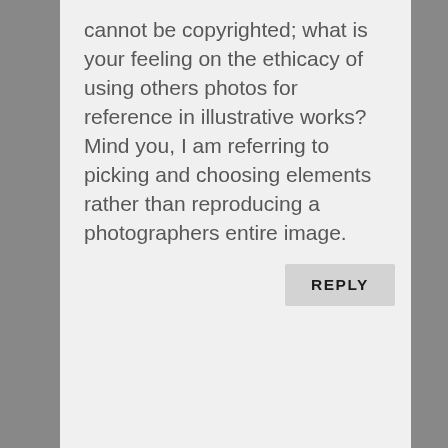cannot be copyrighted; what is your feeling on the ethicacy of using others photos for reference in illustrative works? Mind you, I am referring to picking and choosing elements rather than reproducing a photographers entire image.
REPLY
Arnie Fenner on July 16, 2014 at 7:09 pm
Well people can say